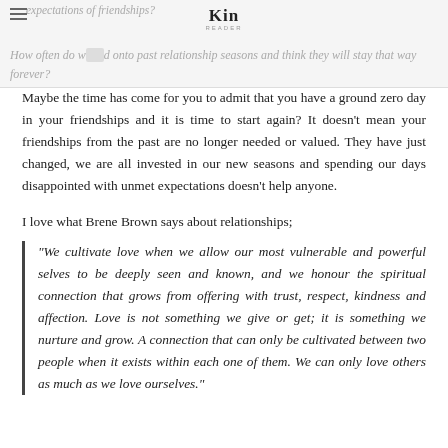expectations of friendships?
Kin
How often do we hold onto past relationship seasons and think they will stay that way forever?
Maybe the time has come for you to admit that you have a ground zero day in your friendships and it is time to start again? It doesn't mean your friendships from the past are no longer needed or valued. They have just changed, we are all invested in our new seasons and spending our days disappointed with unmet expectations doesn't help anyone.
I love what Brene Brown says about relationships;
“We cultivate love when we allow our most vulnerable and powerful selves to be deeply seen and known, and we honour the spiritual connection that grows from offering with trust, respect, kindness and affection. Love is not something we give or get; it is something we nurture and grow. A connection that can only be cultivated between two people when it exists within each one of them. We can only love others as much as we love ourselves.”